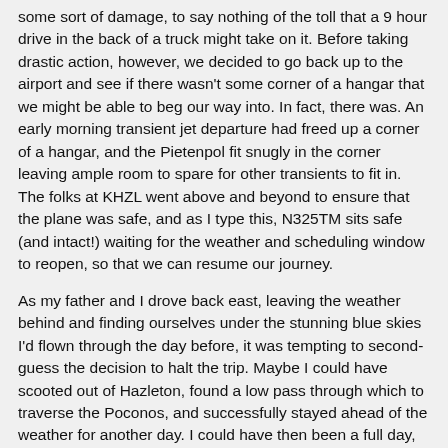some sort of damage, to say nothing of the toll that a 9 hour drive in the back of a truck might take on it. Before taking drastic action, however, we decided to go back up to the airport and see if there wasn't some corner of a hangar that we might be able to beg our way into. In fact, there was. An early morning transient jet departure had freed up a corner of a hangar, and the Pietenpol fit snugly in the corner leaving ample room to spare for other transients to fit in. The folks at KHZL went above and beyond to ensure that the plane was safe, and as I type this, N325TM sits safe (and intact!) waiting for the weather and scheduling window to reopen, so that we can resume our journey.
As my father and I drove back east, leaving the weather behind and finding ourselves under the stunning blue skies I'd flown through the day before, it was tempting to second-guess the decision to halt the trip. Maybe I could have scooted out of Hazleton, found a low pass through which to traverse the Poconos, and successfully stayed ahead of the weather for another day. I could have then been a full day, and several hundred miles closer to home! But it is always easy to doubt your conservative choices when you're safe on the ground, and far worse to find that by pushing hard, you've placed yourself in a compromised or dangerous position. The adage, "Always use your wisdom and risk management to avoid having to exercise your airmanship," applies here. On several occasions on this journey, I found myself having to recalibrate my risk calculations. I am fortunate to fly a very capable aircraft for a living, supported by a massive group of dedicated and talented people